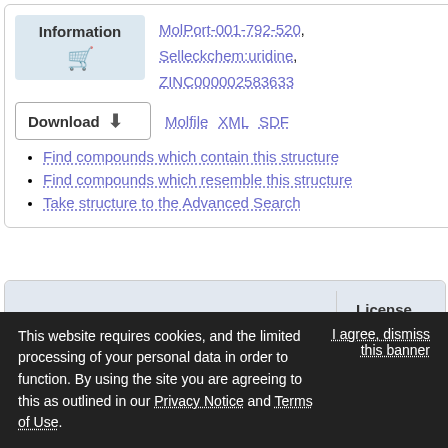Information | MolPort-001-792-520, Selleckchem:uridine, ZINC000002583633
Download | Molfile XML SDF
Find compounds which contain this structure
Find compounds which resemble this structure
Take structure to the Advanced Search
Wikipedia
Read full article at Wikipedia
This website requires cookies, and the limited processing of your personal data in order to function. By using the site you are agreeing to this as outlined in our Privacy Notice and Terms of Use.
I agree, dismiss this banner